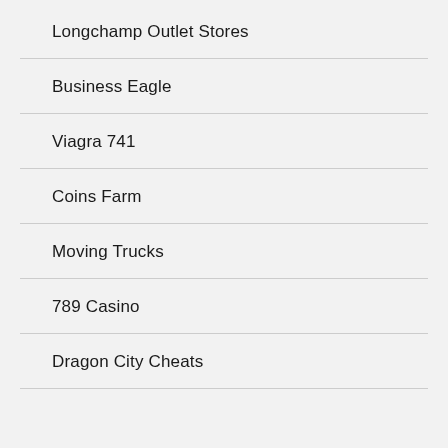Longchamp Outlet Stores
Business Eagle
Viagra 741
Coins Farm
Moving Trucks
789 Casino
Dragon City Cheats